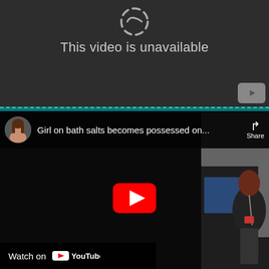[Figure (screenshot): Top section showing a YouTube 'This video is unavailable' error message on a dark gray background, with a grey YouTube logo button in the bottom right corner of that section.]
This video is unavailable
[Figure (screenshot): YouTube video embed showing a video titled 'Girl on bath salts becomes possessed on...' with a channel avatar, share button, YouTube play button overlay on a thumbnail of a woman sitting on a train, and a 'Watch on YouTube' bar at the bottom.]
Girl on bath salts becomes possessed on...
Watch on YouTube